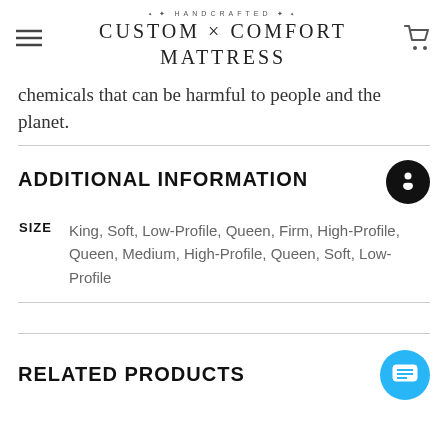HANDCRAFTED CUSTOM × COMFORT MATTRESS
chemicals that can be harmful to people and the planet.
ADDITIONAL INFORMATION
| SIZE | Value |
| --- | --- |
| SIZE | King, Soft, Low-Profile, Queen, Firm, High-Profile, Queen, Medium, High-Profile, Queen, Soft, Low-Profile |
RELATED PRODUCTS